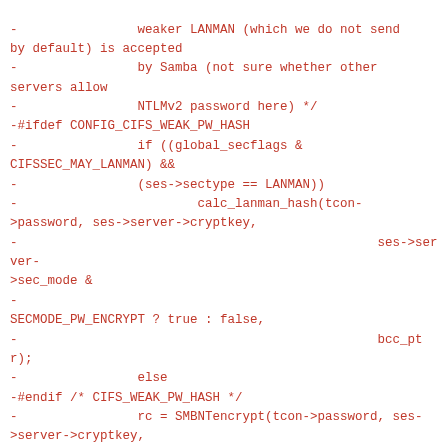-                weaker LANMAN (which we do not send by default) is accepted
-                by Samba (not sure whether other servers allow
-                NTLMv2 password here) */
-#ifdef CONFIG_CIFS_WEAK_PW_HASH
-                if ((global_secflags & CIFSSEC_MAY_LANMAN) &&
-                (ses->sectype == LANMAN))
-                        calc_lanman_hash(tcon->password, ses->server->cryptkey,
-                                                        ses->server->sec_mode &
-
SECMODE_PW_ENCRYPT ? true : false,
-                                                        bcc_ptr);
-                else
-#endif /* CIFS_WEAK_PW_HASH */
-                rc = SMBNTencrypt(tcon->password, ses->server->cryptkey,
-                                                        bcc_ptr,
nls_codepage);
-                if (rc) {
-                        cifs_dbg(FYI, "%s Can't generate NTLM rsp. Error: %d\n",
-                                        __func__, rc);
-                        cifs_buf_release(smb_buffer);
-                        return rc;
-                }
-